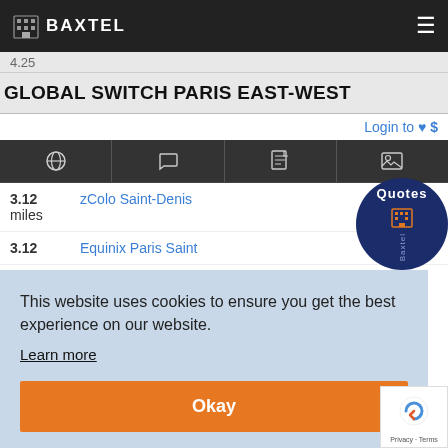Baxtel
GLOBAL SWITCH PARIS EAST-WEST
Login to ♥ $
3.12 miles  zColo Saint-Denis
3.12  Equinix Paris Saint
[Figure (logo): Dark navy circular badge with 'Quotes' text, Baxtel icon, and 'Baxtel' text]
This website uses cookies to ensure you get the best experience on our website.
Learn more
Okay
[Figure (other): reCAPTCHA badge with Privacy · Terms]